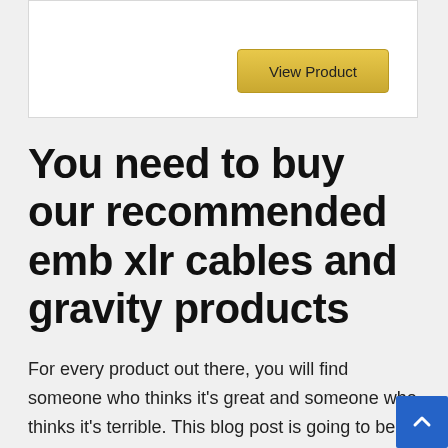[Figure (screenshot): White card area with a gold 'View Product' button in the upper right]
You need to buy our recommended emb xlr cables and gravity products
For every product out there, you will find someone who thinks it's great and someone who thinks it's terrible. This blog post is going to be about some of these reactions to